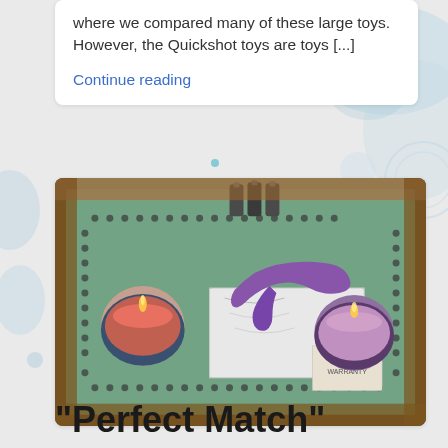where we compared many of these large toys. However, the Quickshot toys are toys [...]
Continue reading
[Figure (photo): A decorative tray on a wooden table with a purple vibrator toy placed on top of a white box with a warranty card, flanked by two lit candles in ornate holders (one pink/salmon colored, one purple), with three small dark bottles in the background.]
“Perfect Match”